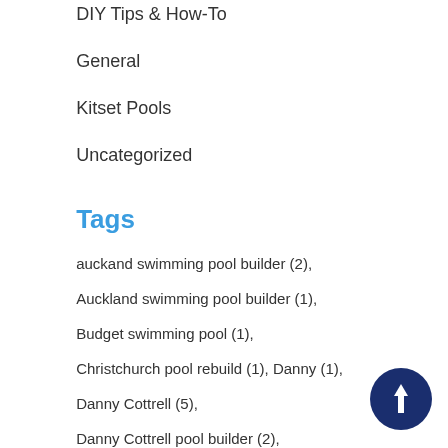DIY Tips & How-To
General
Kitset Pools
Uncategorized
Tags
auckand swimming pool builder (2),
Auckland swimming pool builder (1),
Budget swimming pool (1),
Christchurch pool rebuild (1), Danny (1),
Danny Cottrell (5),
Danny Cottrell pool builder (2),
difficult site (1), DIY pool (1), DIY pools (3),
DIY poool (1), DIY swimming pool (2),